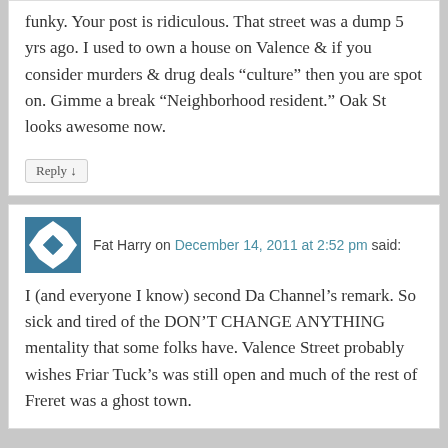funky. Your post is ridiculous. That street was a dump 5 yrs ago. I used to own a house on Valence & if you consider murders & drug deals “culture” then you are spot on. Gimme a break “Neighborhood resident.” Oak St looks awesome now.
Reply
Fat Harry on December 14, 2011 at 2:52 pm said:
I (and everyone I know) second Da Channel’s remark. So sick and tired of the DON’T CHANGE ANYTHING mentality that some folks have. Valence Street probably wishes Friar Tuck’s was still open and much of the rest of Freret was a ghost town.